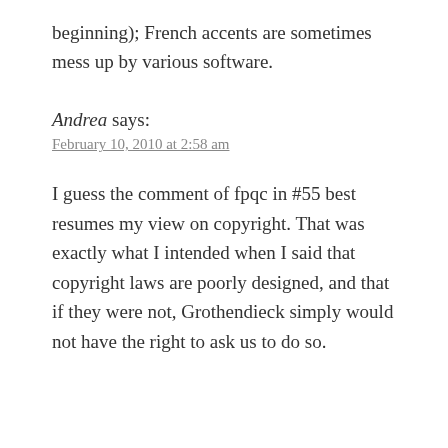beginning); French accents are sometimes mess up by various software.
Andrea says:
February 10, 2010 at 2:58 am
I guess the comment of fpqc in #55 best resumes my view on copyright. That was exactly what I intended when I said that copyright laws are poorly designed, and that if they were not, Grothendieck simply would not have the right to ask us to do so.